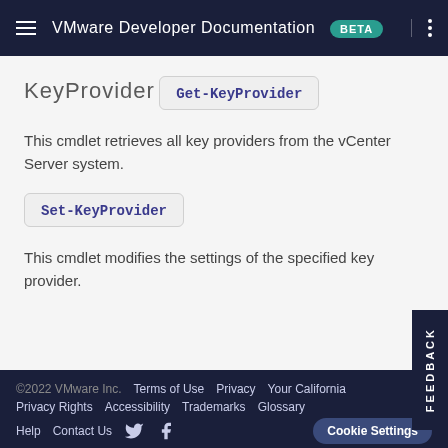VMware Developer Documentation BETA
KeyProvider
Get-KeyProvider
This cmdlet retrieves all key providers from the vCenter Server system.
Set-KeyProvider
This cmdlet modifies the settings of the specified key provider.
©2022 VMware Inc.  Terms of Use  Privacy  Your California  Privacy Rights  Accessibility  Trademarks  Glossary  Help  Contact Us  Cookie Settings